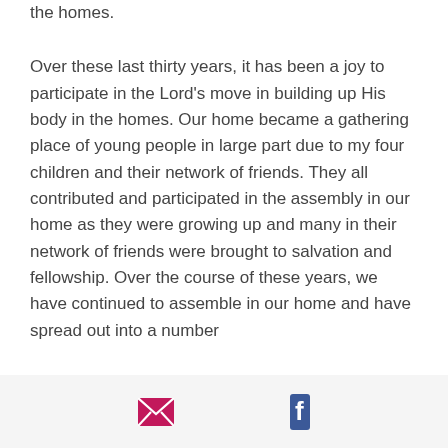the homes.
Over these last thirty years, it has been a joy to participate in the Lord's move in building up His body in the homes. Our home became a gathering place of young people in large part due to my four children and their network of friends. They all contributed and participated in the assembly in our home as they were growing up and many in their network of friends were brought to salvation and fellowship. Over the course of these years, we have continued to assemble in our home and have spread out into a number
[email icon] [facebook icon]